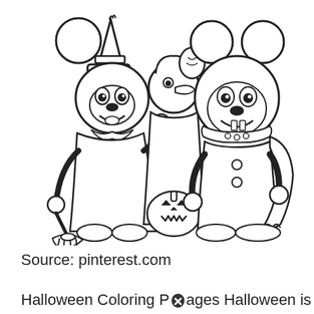[Figure (illustration): A black and white coloring page illustration showing Disney characters Mickey Mouse and Minnie Mouse in Halloween costumes. Minnie is dressed as a witch with a pointed hat and is holding a broom. Mickey is dressed as a vampire/dracula with a cape. Between them is a jack-o-lantern pumpkin candy bucket. The illustration is in outline/line-art style suitable for coloring.]
Source: pinterest.com
Halloween Coloring Pages Halloween is